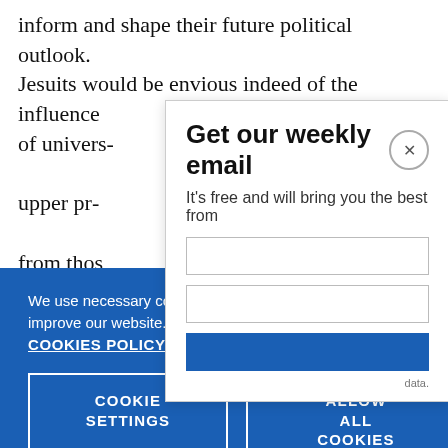inform and shape their future political outlook. Jesuits would be envious indeed of the influence of univers… upper pr… from thos…
Get our weekly email
It's free and will bring you the best from
We use necessary cookies that allow our site to work. We also set optional cookies that help us improve our website. For more information about the types of cookies we use. READ OUR COOKIES POLICY HERE
COOKIE SETTINGS
ALLOW ALL COOKIES
data.
those ma